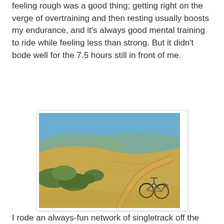feeling rough was a good thing; getting right on the verge of overtraining and then resting usually boosts my endurance, and it's always good mental training to ride while feeling less than strong. But it didn't bode well for the 7.5 hours still in front of me.
[Figure (photo): Mountain bike leaning on a dirt singletrack trail on a dry golden hillside with green shrubs and blue sky in the background.]
I rode an always-fun network of singletrack off the backside of Black Mountain — Bella Vista, White Oak, Skid Trail and Alt Ridge. Rolling fun singletrack put a little spark back in my legs, and I launched down Alpine Road hungry for adventure.
[Figure (photo): Partial view of another outdoor photo, partially cut off at the bottom of the page.]